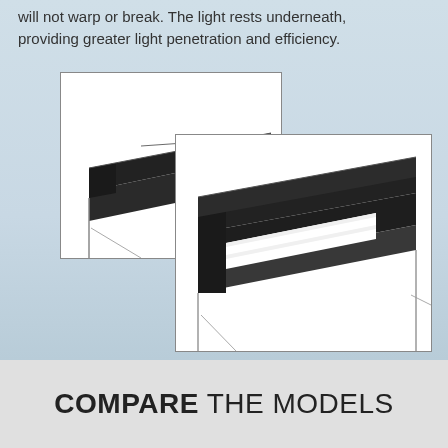will not warp or break. The light rests underneath, providing greater light penetration and efficiency.
[Figure (photo): Two overlapping product photos showing aquarium canopy/hood components. Left image shows a closed black canopy top on a tank frame. Right image shows the same canopy open/tilted revealing white fluorescent light tubes underneath, mounted in a black frame.]
COMPARE THE MODELS